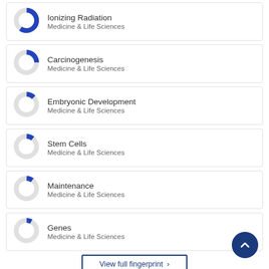[Figure (donut-chart): Donut chart showing partial fill ~60% blue]
Ionizing Radiation
Medicine & Life Sciences
[Figure (donut-chart): Donut chart showing partial fill ~25% blue]
Carcinogenesis
Medicine & Life Sciences
[Figure (donut-chart): Donut chart showing partial fill ~12% blue]
Embryonic Development
Medicine & Life Sciences
[Figure (donut-chart): Donut chart showing partial fill ~10% blue]
Stem Cells
Medicine & Life Sciences
[Figure (donut-chart): Donut chart showing partial fill ~10% blue]
Maintenance
Medicine & Life Sciences
[Figure (donut-chart): Donut chart showing partial fill ~8% blue]
Genes
Medicine & Life Sciences
View full fingerprint >